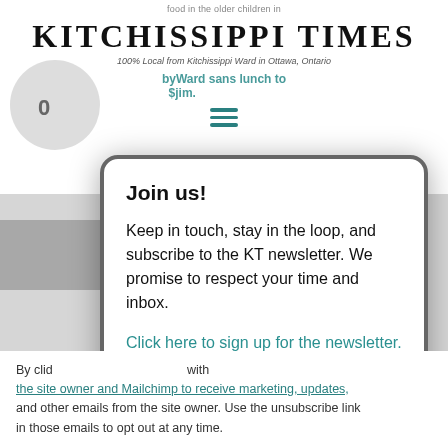[Figure (screenshot): Kitchissippi Times website header with logo, tagline, and navigation hamburger icon, partially visible behind a modal popup]
Join us!
Keep in touch, stay in the loop, and subscribe to the KT newsletter. We promise to respect your time and inbox.
Click here to sign up for the newsletter. You'll be first in line to receive the digital issue of KT, delivered right to your inbox.
By clicking submit, you agree to share your email address with the site owner and Mailchimp to receive marketing, updates, and other emails from the site owner. Use the unsubscribe link in those emails to opt out at any time.